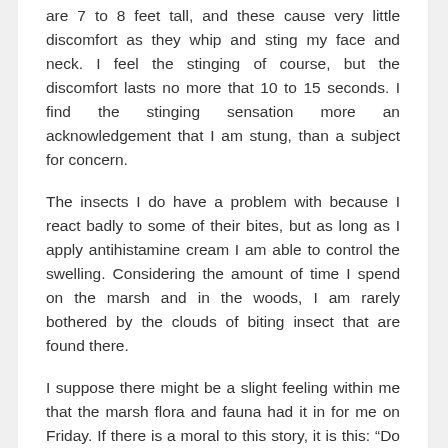are 7 to 8 feet tall, and these cause very little discomfort as they whip and sting my face and neck. I feel the stinging of course, but the discomfort lasts no more that 10 to 15 seconds. I find the stinging sensation more an acknowledgement that I am stung, than a subject for concern.
The insects I do have a problem with because I react badly to some of their bites, but as long as I apply antihistamine cream I am able to control the swelling. Considering the amount of time I spend on the marsh and in the woods, I am rarely bothered by the clouds of biting insect that are found there.
I suppose there might be a slight feeling within me that the marsh flora and fauna had it in for me on Friday. If there is a moral to this story, it is this: “Do not underestimate nature, what it might or might not do, or how it will react.”